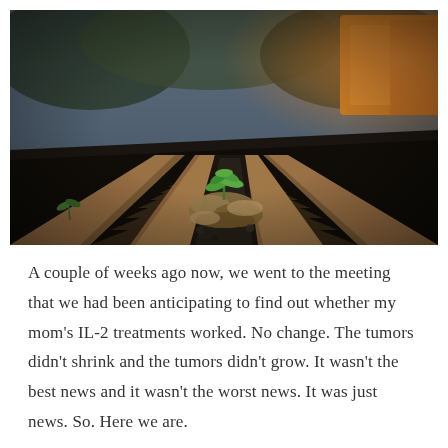[Figure (photo): Close-up photograph of rusty railroad tracks with a small green plant sprouting between the rails, surrounded by dead leaves and debris. Blurred background shows trees and a yellow structure. Shallow depth of field with bokeh effect.]
A couple of weeks ago now, we went to the meeting that we had been anticipating to find out whether my mom's IL-2 treatments worked. No change. The tumors didn't shrink and the tumors didn't grow. It wasn't the best news and it wasn't the worst news. It was just news. So. Here we are.